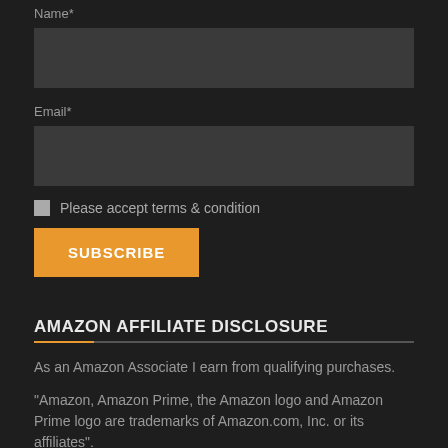Name*
Email*
Please accept terms & condition
SUBSCRIBE
AMAZON AFFILIATE DISCLOSURE
As an Amazon Associate I earn from qualifying purchases.
"Amazon, Amazon Prime, the Amazon logo and Amazon Prime logo are trademarks of Amazon.com, Inc. or its affiliates".
Home / Contact / Privacy Policy / Terms and Conditions /